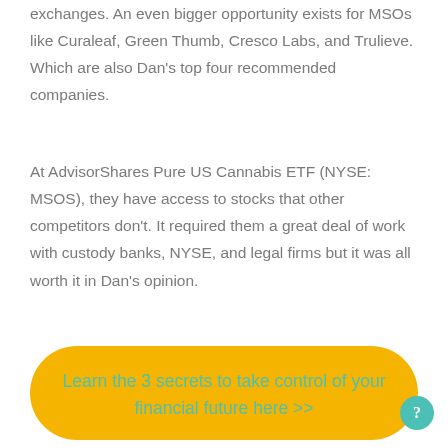exchanges. An even bigger opportunity exists for MSOs like Curaleaf, Green Thumb, Cresco Labs, and Trulieve. Which are also Dan's top four recommended companies.
At AdvisorShares Pure US Cannabis ETF (NYSE: MSOS), they have access to stocks that other competitors don't. It required them a great deal of work with custody banks, NYSE, and legal firms but it was all worth it in Dan's opinion.
Learn the 3 secrets to take control of your financial future here >>